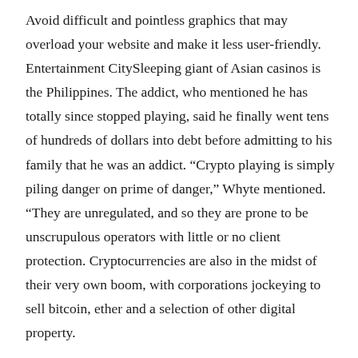Avoid difficult and pointless graphics that may overload your website and make it less user-friendly. Entertainment CitySleeping giant of Asian casinos is the Philippines. The addict, who mentioned he has totally since stopped playing, said he finally went tens of hundreds of dollars into debt before admitting to his family that he was an addict. “Crypto playing is simply piling danger on prime of danger,” Whyte mentioned. “They are unregulated, and so they are prone to be unscrupulous operators with little or no client protection. Cryptocurrencies are also in the midst of their very own boom, with corporations jockeying to sell bitcoin, ether and a selection of other digital property.

The only necessities are to have an account and make an preliminary deposit of at least $10. The road to legalize